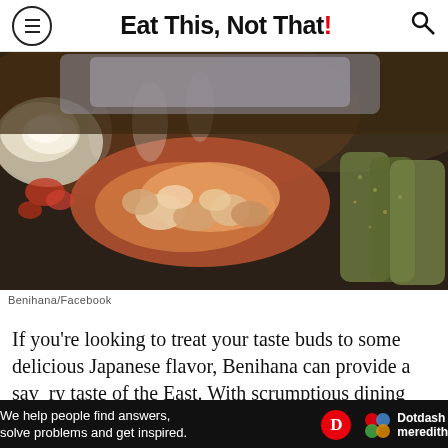Eat This, Not That!
[Figure (photo): Close-up of food cooking on a Benihana teppanyaki grill — shrimp and chicken on a flat iron griddle alongside sliced zucchini, with steam rising]
Benihana/Facebook
If you're looking to treat your taste buds to some delicious Japanese flavor, Benihana can provide a savory taste of the East. With scrumptious dining options,